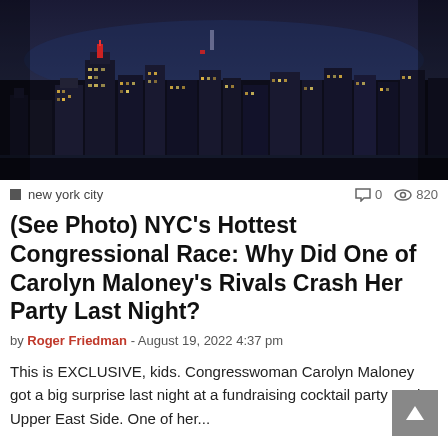[Figure (photo): Aerial night photo of New York City skyline with lit skyscrapers and dark blue sky]
new york city   0   820
(See Photo) NYC's Hottest Congressional Race: Why Did One of Carolyn Maloney's Rivals Crash Her Party Last Night?
by Roger Friedman - August 19, 2022 4:37 pm
This is EXCLUSIVE, kids. Congresswoman Carolyn Maloney got a big surprise last night at a fundraising cocktail party on the Upper East Side. One of her...